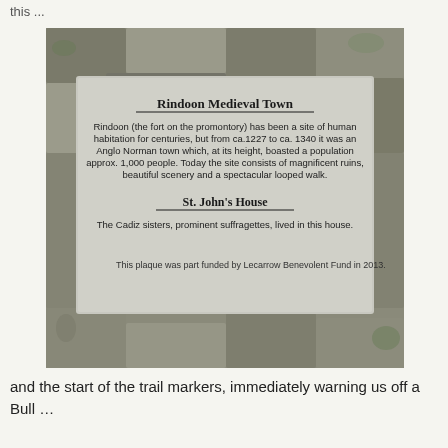this ...
[Figure (photo): A photo of a stone commemorative plaque mounted on a rough stone wall. The plaque reads: 'Rindoon Medieval Town' with a subtitle 'St. John's House' and descriptive text about the history of Rindoon and the Cadiz sisters. The plaque also notes: 'This plaque was part funded by Lecarrow Benevolent Fund in 2013.']
and the start of the trail markers, immediately warning us off a Bull ...